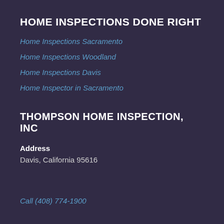HOME INSPECTIONS DONE RIGHT
Home Inspections Sacramento
Home Inspections Woodland
Home Inspections Davis
Home Inspector in Sacramento
THOMPSON HOME INSPECTION, INC
Address
Davis, California 95616
Call (408) 774-1900